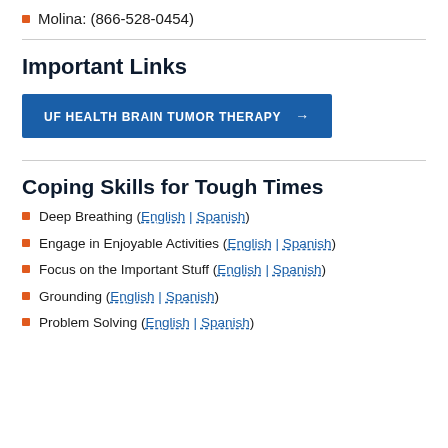Molina: (866-528-0454)
Important Links
[Figure (other): Blue button labeled 'UF HEALTH BRAIN TUMOR THERAPY' with arrow]
Coping Skills for Tough Times
Deep Breathing (English | Spanish)
Engage in Enjoyable Activities (English | Spanish)
Focus on the Important Stuff (English | Spanish)
Grounding (English | Spanish)
Problem Solving (English | Spanish)